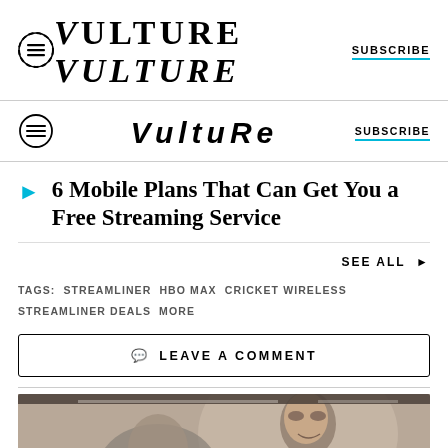VULTURE | SUBSCRIBE
6 Mobile Plans That Can Get You a Free Streaming Service
SEE ALL ➡
TAGS: STREAMLINER  HBO MAX  CRICKET WIRELESS  STREAMLINER DEALS  MORE
💬 LEAVE A COMMENT
[Figure (photo): A man leaning over, smiling, black and white image cropped at the bottom of the page]